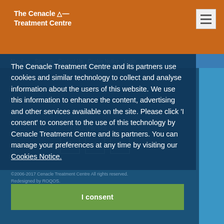The Cenacle Treatment Centre
About us · Sitemap · Contact Us · Cookie Notice · Login
The Cenacle Treatment Centre and its partners use cookies and similar technology to collect and analyse information about the users of this website. We use this information to enhance the content, advertising and other services available on the site. Please click 'I consent' to consent to the use of this technology by Cenacle Treatment Centre and its partners. You can manage your preferences at any time by visiting our Cookies Notice.
©2006-2017 Cenacle Treatment Centre All rights reserved. Redesigned by ROQOS.
I consent